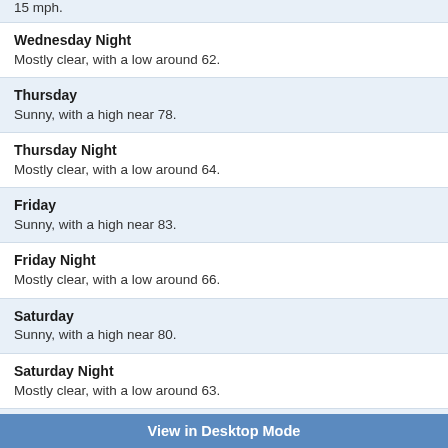15 mph.
Wednesday Night
Mostly clear, with a low around 62.
Thursday
Sunny, with a high near 78.
Thursday Night
Mostly clear, with a low around 64.
Friday
Sunny, with a high near 83.
Friday Night
Mostly clear, with a low around 66.
Saturday
Sunny, with a high near 80.
Saturday Night
Mostly clear, with a low around 63.
Sunday
Mostly sunny, with a high near 76.
Sunday Night
Mostly clear, with a low around 62.
Labor Day
View in Desktop Mode